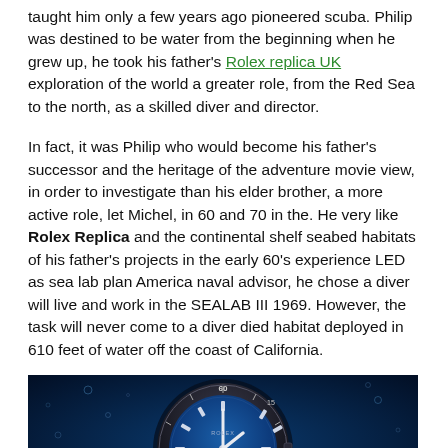taught him only a few years ago pioneered scuba. Philip was destined to be water from the beginning when he grew up, he took his father's Rolex replica UK exploration of the world a greater role, from the Red Sea to the north, as a skilled diver and director.
In fact, it was Philip who would become his father's successor and the heritage of the adventure movie view, in order to investigate than his elder brother, a more active role, let Michel, in 60 and 70 in the. He very like Rolex Replica and the continental shelf seabed habitats of his father's projects in the early 60's experience LED as sea lab plan America naval advisor, he chose a diver will live and work in the SEALAB III 1969. However, the task will never come to a diver died habitat deployed in 610 feet of water off the coast of California.
[Figure (photo): Close-up photo of a Rolex diver watch with blue dial against a dark blue underwater background with bubbles.]